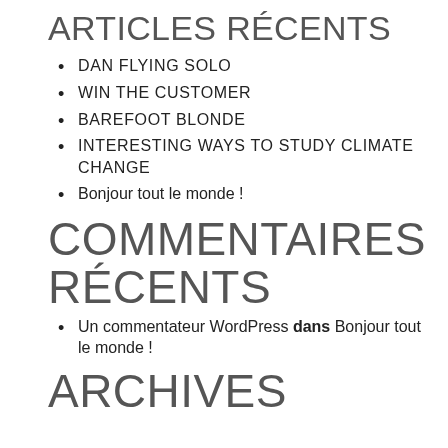ARTICLES RÉCENTS
DAN FLYING SOLO
WIN THE CUSTOMER
BAREFOOT BLONDE
INTERESTING WAYS TO STUDY CLIMATE CHANGE
Bonjour tout le monde !
COMMENTAIRES RÉCENTS
Un commentateur WordPress dans Bonjour tout le monde !
ARCHIVES